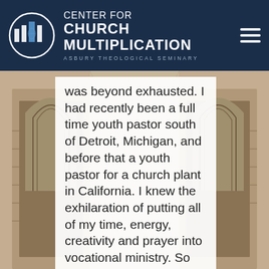CENTER FOR CHURCH MULTIPLICATION ASBURY THEOLOGICAL SEMINARY
[Figure (photo): Stone Gothic church archways in warm tan and beige tones, photographed from below looking up, showing two pointed arch windows or recesses with decorative stonework.]
was beyond exhausted. I had recently been a full time youth pastor south of Detroit, Michigan, and before that a youth pastor for a church plant in California. I knew the exhilaration of putting all of my time, energy, creativity and prayer into vocational ministry. So when I was asked to consider leading a church plant it seemed the answer would be quite easy and clear, and in